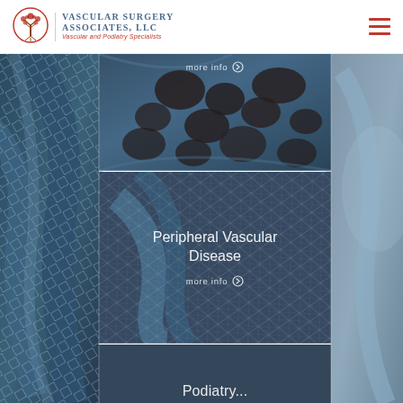[Figure (logo): Vascular Surgery Associates LLC logo with tree icon]
Vascular Surgery Associates, LLC
Vascular and Podiatry Specialists
[Figure (photo): Medical vascular/artery imagery background with stent device visible]
more info
Peripheral Vascular Disease
more info
Podiatry